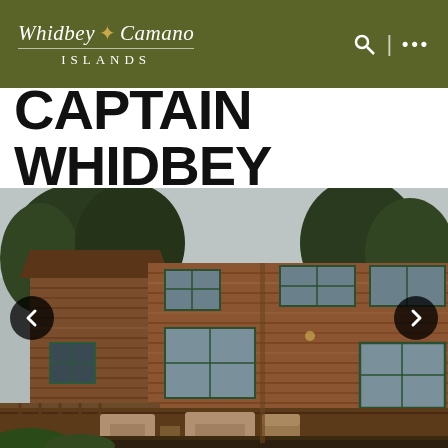Whidbey Camano ISLANDS — navigation header with search icon and menu
CAPTAIN WHIDBEY
[Figure (photo): Exterior photograph of Captain Whidbey Inn, a large two-story log cabin style building with dark green window frames, surrounded by trees, with outdoor seating furniture on a deck in the foreground. Left and right carousel navigation arrows are visible.]